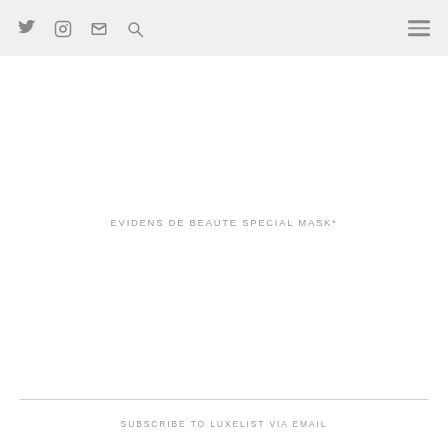Twitter Instagram Email Search [hamburger menu]
EVIDENS DE BEAUTE SPECIAL MASK*
SUBSCRIBE TO LUXELIST VIA EMAIL